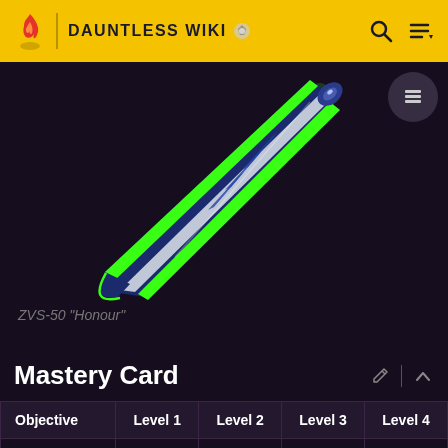DAUNTLESS WIKI
[Figure (illustration): ZVS-50 Honour weapon — a sleek dark blue axe/sword with bright green glowing edges, rendered in 3D game art style, shown diagonally on a dark background]
ZVS-50 "Honour"
Mastery Card
| Objective | Level 1 | Level 2 | Level 3 | Level 4 |
| --- | --- | --- | --- | --- |
| Break [x] | 5 | 10 | 25 | 50 |